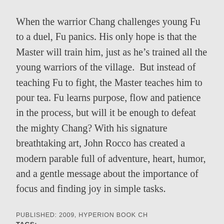When the warrior Chang challenges young Fu to a duel, Fu panics. His only hope is that the Master will train him, just as he's trained all the young warriors of the village.  But instead of teaching Fu to fight, the Master teaches him to pour tea. Fu learns purpose, flow and patience in the process, but will it be enough to defeat the mighty Chang? With his signature breathtaking art, John Rocco has created a modern parable full of adventure, heart, humor, and a gentle message about the importance of focus and finding joy in simple tasks.
PUBLISHED: 2009, HYPERION BOOK CH
TAGS:
FABLES AND PARABLES, PATIENCE, WARRIORS